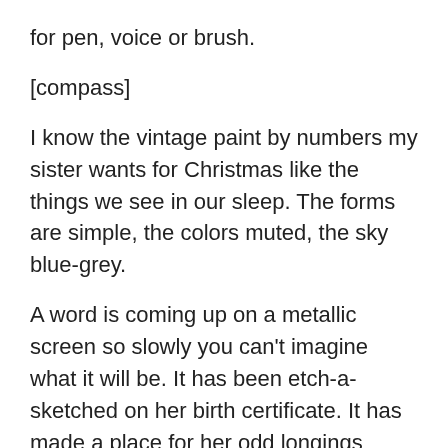for pen, voice or brush.
[compass]
I know the vintage paint by numbers my sister wants for Christmas like the things we see in our sleep. The forms are simple, the colors muted, the sky blue-grey.
A word is coming up on a metallic screen so slowly you can't imagine what it will be. It has been etch-a-sketched on her birth certificate. It has made a place for her odd longings inside her baby footprints.
In fist formation she presses her hand into the snow on the top of the mailbox. Like this, she says.
One fist, then the other, each faces the other. She